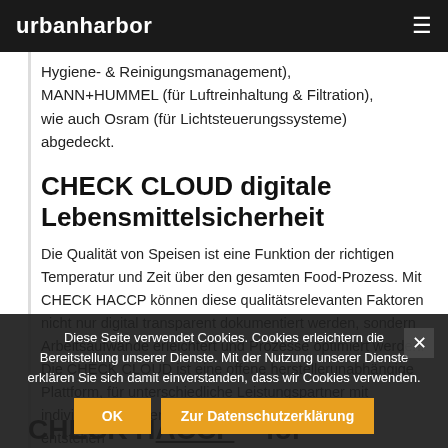urbanharbor
Hygiene- & Reinigungsmanagement), MANN+HUMMEL (für Luftreinhaltung & Filtration), wie auch Osram (für Lichtsteuerungssysteme) abgedeckt.
CHECK CLOUD digitale Lebensmittelsicherheit
Die Qualität von Speisen ist eine Funktion der richtigen Temperatur und Zeit über den gesamten Food-Prozess. Mit CHECK HACCP können diese qualitätsrelevanten Faktoren nicht nur digital transparent dokumentiert werden, sondern Arbeitsaufwände erleichtert und Prozesse optimiert werden. Die CHECK CLOUD ist eine offene herstellerunabhängige Plattform, für unterschiedliche Leistungspartner mit individuellen Expertisen. Durch diese Kollaboration entstehen ...
Diese Seite verwendet Cookies. Cookies erleichtern die Bereitstellung unserer Dienste. Mit der Nutzung unserer Dienste erklären Sie sich damit einverstanden, dass wir Cookies verwenden.
CHECK HACCP - for